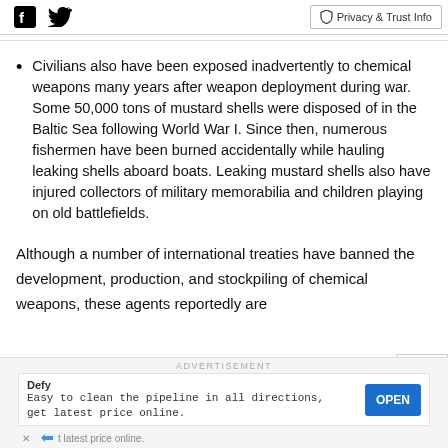Facebook Twitter | Privacy & Trust Info
Civilians also have been exposed inadvertently to chemical weapons many years after weapon deployment during war. Some 50,000 tons of mustard shells were disposed of in the Baltic Sea following World War I. Since then, numerous fishermen have been burned accidentally while hauling leaking shells aboard boats. Leaking mustard shells also have injured collectors of military memorabilia and children playing on old battlefields.
Although a number of international treaties have banned the development, production, and stockpiling of chemical weapons, these agents reportedly are
[Figure (other): Advertisement banner: Defy - Easy to clean the pipeline in all directions, get latest price online. OPEN button.]